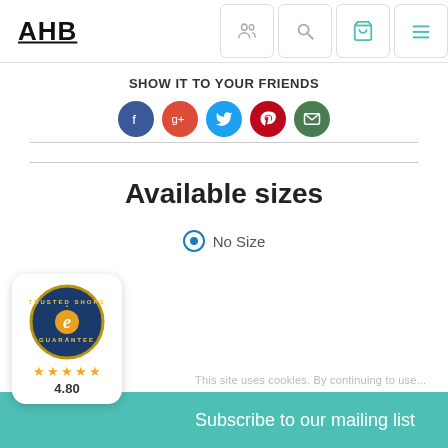AHB
SHOW IT TO YOUR FRIENDS
[Figure (infographic): Social share icons: Facebook (blue), Google+ (red), Twitter (cyan), Pinterest (red), Email (green)]
Available sizes
No Size
[Figure (logo): Trusted Shops seal with 4.80 rating and 5 gold stars]
Subscribe to our mailing list